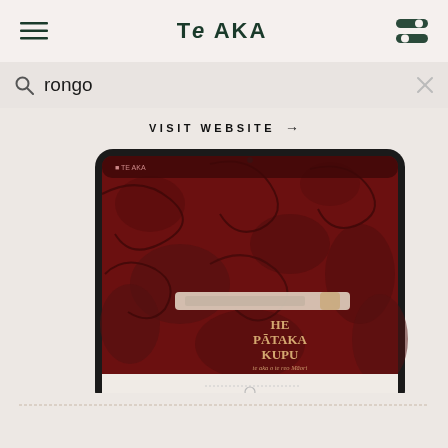Te AKA
rongo
VISIT WEBSITE →
[Figure (screenshot): Screenshot of a tablet device showing the Te Aka Māori dictionary website with a dark red/maroon background featuring traditional Māori artwork patterns. The screen displays 'HE PĀTAKA KUPU' text and a search bar interface.]